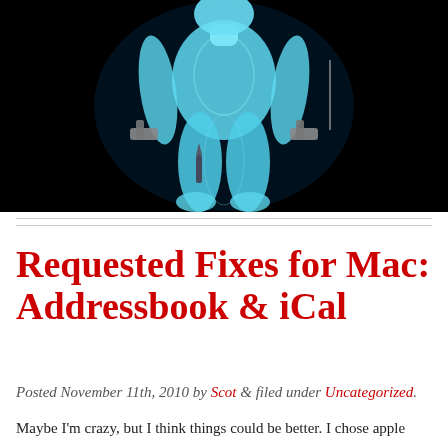[Figure (photo): A glowing blue humanoid figure on a black background, holding what appear to be weapons, with a knife or object near the leg. Airport security scan or similar body scan imagery.]
Requested Fixes for Mac: Addressbook & iCal
Posted November 11th, 2010 by Scot & filed under Uncategorized.
Maybe I'm crazy, but I think things could be better. I chose apple